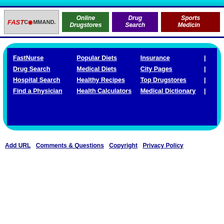[Figure (screenshot): Top cyan/teal banner bar]
[Figure (logo): FastCommand logo, Online Drugstores button (green), Drug Search button (purple), Sports Medicine button (red/crimson) - navigation bar]
FastNurse
Drug Search
Hospital Search
Find a Physician
Popular Diets
Medical Diets
Healthy Recipes
Health Calculators
Insurance
City Pages
Top Drugstores
Medical Dictionary
Add URL   Comments & Questions   Copyright   Privacy Policy